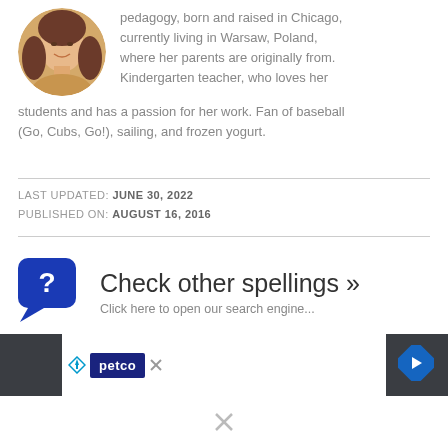[Figure (photo): Circular avatar photo of a woman with long dark hair, smiling, outdoors with warm light background.]
pedagogy, born and raised in Chicago, currently living in Warsaw, Poland, where her parents are originally from. Kindergarten teacher, who loves her students and has a passion for her work. Fan of baseball (Go, Cubs, Go!), sailing, and frozen yogurt.
LAST UPDATED: JUNE 30, 2022
PUBLISHED ON: AUGUST 16, 2016
[Figure (illustration): Blue speech bubble icon with a white question mark inside.]
Check other spellings » Click here to open our search engine...
[Figure (other): Advertisement banner showing Petco logo and a navigation arrow icon on a dark background.]